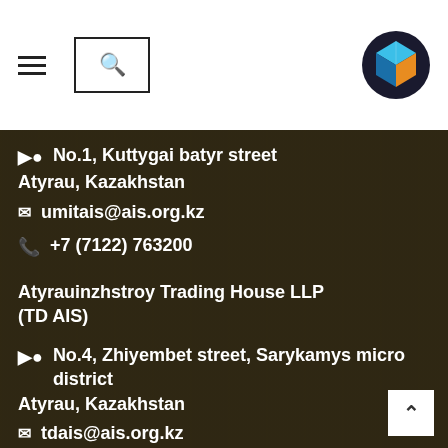[Figure (logo): Website header with hamburger menu, search box, and a colorful cube logo on the right]
No.1, Kuttygai batyr street
Atyrau, Kazakhstan
umitais@ais.org.kz
+7 (7122) 763200
Atyrauinzhstroy Trading House LLP (TD AIS)
No.4, Zhiyembet street, Sarykamys micro district
Atyrau, Kazakhstan
tdais@ais.org.kz